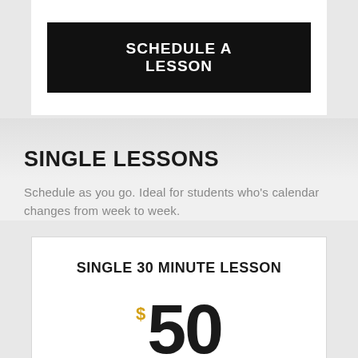SCHEDULE A LESSON
SINGLE LESSONS
Schedule as you go. Ideal for students who's calendar changes from week to week.
SINGLE 30 MINUTE LESSON
$50